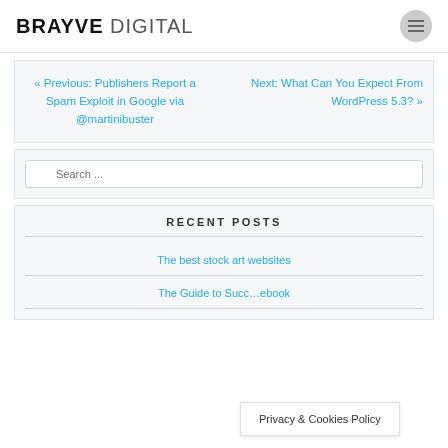BRAYVE DIGITAL
« Previous: Publishers Report a Spam Exploit in Google via @martinibuster
Next: What Can You Expect From WordPress 5.3? »
Search ...
RECENT POSTS
The best stock art websites
The Guide to Succ... ebook
Privacy & Cookies Policy